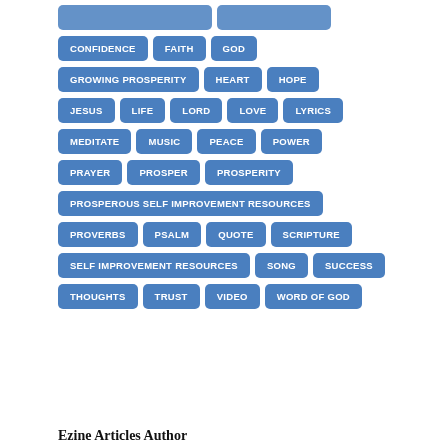CONFIDENCE
FAITH
GOD
GROWING PROSPERITY
HEART
HOPE
JESUS
LIFE
LORD
LOVE
LYRICS
MEDITATE
MUSIC
PEACE
POWER
PRAYER
PROSPER
PROSPERITY
PROSPEROUS SELF IMPROVEMENT RESOURCES
PROVERBS
PSALM
QUOTE
SCRIPTURE
SELF IMPROVEMENT RESOURCES
SONG
SUCCESS
THOUGHTS
TRUST
VIDEO
WORD OF GOD
Ezine Articles Author